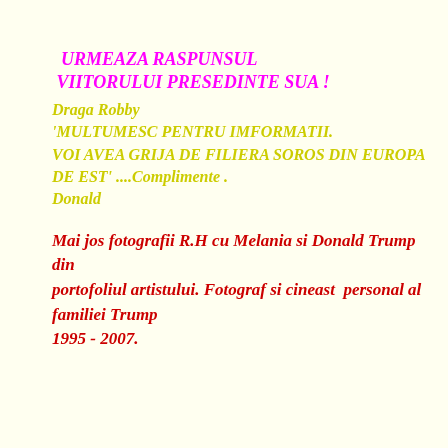URMEAZA RASPUNSUL VIITORULUI PRESEDINTE SUA !
Draga Robby
'MULTUMESC PENTRU IMFORMATII. VOI AVEA GRIJA DE FILIERA SOROS DIN EUROPA DE EST' ....Complimente .
Donald
Mai jos fotografii R.H cu Melania si Donald Trump din portofoliul artistului. Fotograf si cineast  personal al familiei Trump 1995 - 2007.